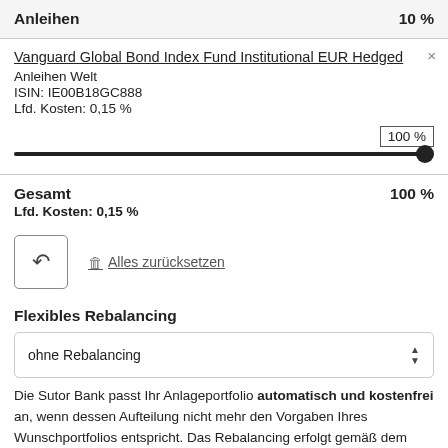Anleihen   10 %
Vanguard Global Bond Index Fund Institutional EUR Hedged
Anleihen Welt
ISIN: IE00B18GC888
Lfd. Kosten: 0,15 %
[Figure (other): Slider at 100% position with label '100 %']
Gesamt   100 %
Lfd. Kosten: 0,15 %
[Figure (other): Reset button with undo icon and 'Alles zurücksetzen' link with trash icon]
Flexibles Rebalancing
ohne Rebalancing
Die Sutor Bank passt Ihr Anlageportfolio automatisch und kostenfrei an, wenn dessen Aufteilung nicht mehr den Vorgaben Ihres Wunschportfolios entspricht. Das Rebalancing erfolgt gemäß dem gewählten Rhythmus